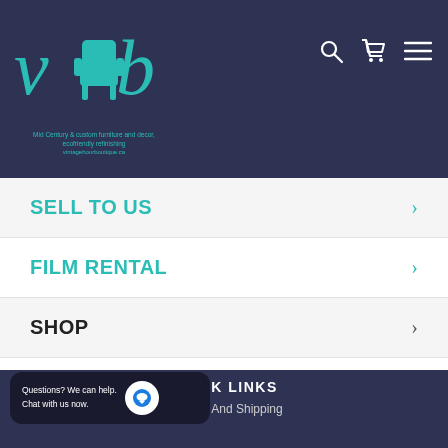[Figure (logo): VHB vintage home boutique logo with teal chair graphic and letters v, h, b]
Mid Century & custom furniture and decor, ecofriendly refinishing
vintagehourboutique.ca
SELL TO US
FILM RENTAL
SHOP
QUICK LINKS
Delivery And Shipping
Questions? We can help.
Chat with us now.